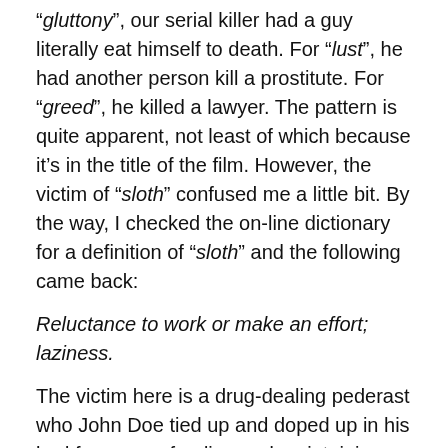“gluttony”, our serial killer had a guy literally eat himself to death. For “lust”, he had another person kill a prostitute. For “greed”, he killed a lawyer. The pattern is quite apparent, not least of which because it’s in the title of the film. However, the victim of “sloth” confused me a little bit. By the way, I checked the on-line dictionary for a definition of “sloth” and the following came back:
Reluctance to work or make an effort; laziness.
The victim here is a drug-dealing pederast who John Doe tied up and doped up in his bed for a year, feeding and maintaining (and sanitizing and bandaging) him, just enough to keep him alive – to the point where his poor victim’s brain turned to mush. It’s fairly obvious where “sloth” comes into the creepy poetic fate Doe has mapped out for the former criminal, to the point that the character